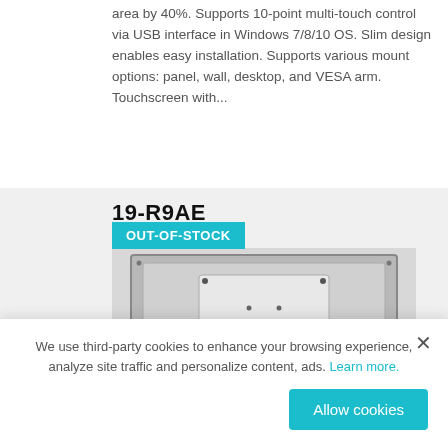area by 40%. Supports 10-point multi-touch control via USB interface in Windows 7/8/10 OS. Slim design enables easy installation. Supports various mount options: panel, wall, desktop, and VESA arm. Touchscreen with...
19-R9AE
[Figure (photo): Back view of a flat panel touchscreen monitor/display showing mounting points and VESA mount holes on the rear panel]
OUT-OF-STOCK
We use third-party cookies to enhance your browsing experience, analyze site traffic and personalize content, ads. Learn more.